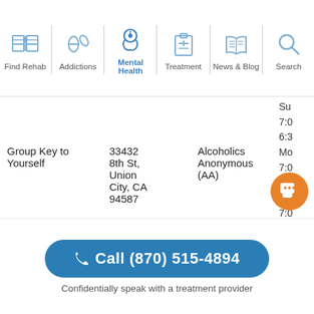Find Rehab | Addictions | Mental Health | Treatment | News & Blog | Search
Su
7:0
6:3
Mo
7:0
6:3
Tu
7:0
6:3
We
7:0
:3
n
7:0
Group Key to Yourself   33432 8th St, Union City, CA 94587   Alcoholics Anonymous (AA)
📞 Call (870) 515-4894
Confidentially speak with a treatment provider